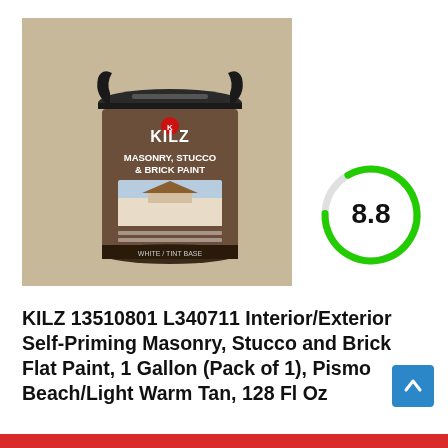[Figure (photo): KILZ Masonry, Stucco & Brick Paint can (1 gallon) with warm tan/pismo beach color swatch background]
[Figure (infographic): Score indicator showing 8.8 rating in a green circular arc gauge]
KILZ 13510801 L340711 Interior/Exterior Self-Priming Masonry, Stucco and Brick Flat Paint, 1 Gallon (Pack of 1), Pismo Beach/Light Warm Tan, 128 Fl Oz
[Figure (other): Blue scroll-to-top button with upward arrow icon]
[Figure (other): Red bar at bottom of page]